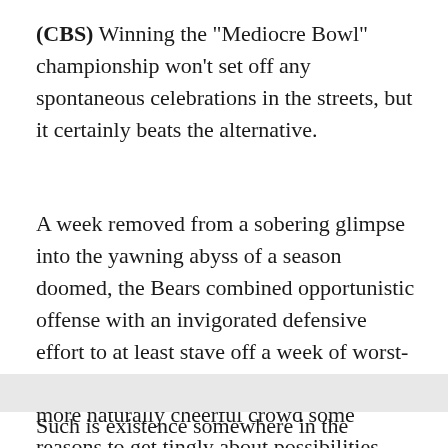(CBS) Winning the "Mediocre Bowl" championship won't set off any spontaneous celebrations in the streets, but it certainly beats the alternative.
A week removed from a sobering glimpse into the yawning abyss of a season doomed, the Bears combined opportunistic offense with an invigorated defensive effort to at least stave off a week of worst-case-scenario murmuring and even give the more naturally cheerful crowd some reasons to get tingly about possibilities after a 27-13 win against the Falcons on Sunday.
Such is existence somewhere in the middle, where the next entry starts to come into the page. Resting...